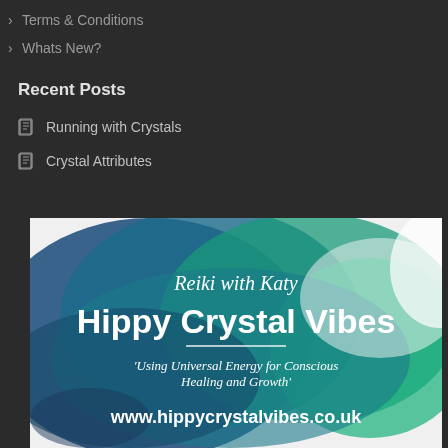Terms & Conditions
Whats New?
Recent Posts
Running with Crystals
Crystal Attributes
[Figure (illustration): Hippy Crystal Vibes branded image with watercolor blue-green background. Text reads: 'Reiki with Katy', 'Hippy Crystal Vibes', 'Using Universal Energy for Conscious Healing and Growth', 'www.hippycrystalvibes.co.uk']